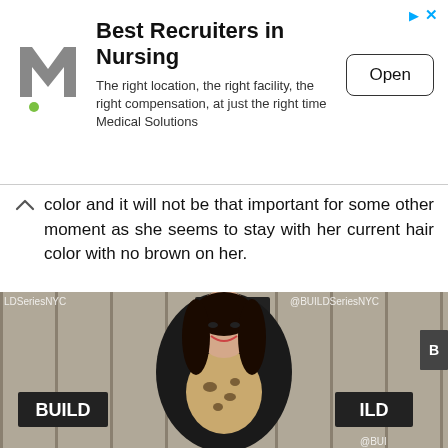[Figure (infographic): Advertisement banner for Medical Solutions - Best Recruiters in Nursing. Shows a stylized M logo with green dot, bold headline, description text, and an Open button. Top-right has navigation arrow and X icons in blue.]
color and it will not be that important for some other moment as she seems to stay with her current hair color with no brown on her.
[Figure (photo): A woman with long dark hair wearing a black blazer over a leopard print top, smiling, standing in front of a BUILD Series NYC backdrop with multiple BUILD logo signs visible. Photo is in black and white except the subject.]